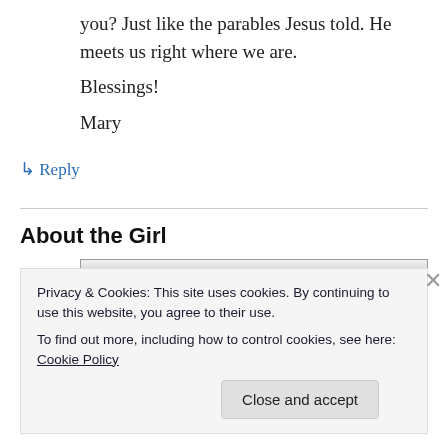you? Just like the parables Jesus told. He meets us right where we are.
Blessings!
Mary
↳ Reply
About the Girl
[Figure (photo): Black and white photo, partially visible, with a red banner at the bottom]
Privacy & Cookies: This site uses cookies. By continuing to use this website, you agree to their use.
To find out more, including how to control cookies, see here: Cookie Policy
Close and accept